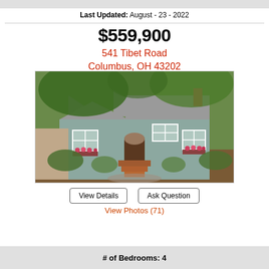Last Updated: August - 23 - 2022
$559,900
541 Tibet Road
Columbus, OH 43202
[Figure (photo): Front exterior of a light blue cottage-style house with dormer windows, flower boxes, brick front steps, and lush green landscaping.]
View Details
Ask Question
View Photos (71)
# of Bedrooms: 4